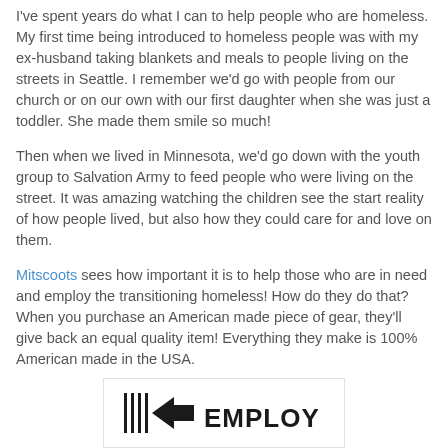I've spent years do what I can to help people who are homeless. My first time being introduced to homeless people was with my ex-husband taking blankets and meals to people living on the streets in Seattle. I remember we'd go with people from our church or on our own with our first daughter when she was just a toddler. She made them smile so much!
Then when we lived in Minnesota, we'd go down with the youth group to Salvation Army to feed people who were living on the street. It was amazing watching the children see the start reality of how people lived, but also how they could care for and love on them.
Mitscoots sees how important it is to help those who are in need and employ the transitioning homeless! How do they do that? When you purchase an American made piece of gear, they'll give back an equal quality item! Everything they make is 100% American made in the USA.
[Figure (logo): Employ logo with vertical lines and arrow graphic followed by the word EMPLOY in bold black text]